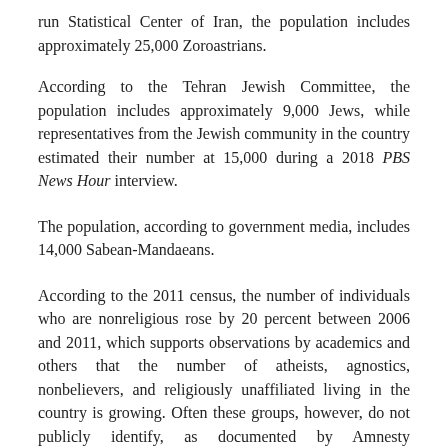run Statistical Center of Iran, the population includes approximately 25,000 Zoroastrians.
According to the Tehran Jewish Committee, the population includes approximately 9,000 Jews, while representatives from the Jewish community in the country estimated their number at 15,000 during a 2018 PBS News Hour interview.
The population, according to government media, includes 14,000 Sabean-Mandaeans.
According to the 2011 census, the number of individuals who are nonreligious rose by 20 percent between 2006 and 2011, which supports observations by academics and others that the number of atheists, agnostics, nonbelievers, and religiously unaffiliated living in the country is growing. Often these groups, however, do not publicly identify, as documented by Amnesty International’s report on the country, because those who profess atheism are at risk of arbitrary